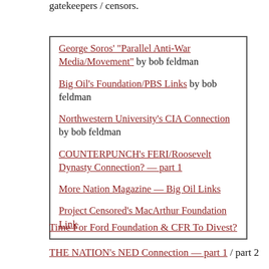gatekeepers / censors.
George Soros' "Parallel Anti-War Media/Movement"  by bob feldman
Big Oil's Foundation/PBS Links by bob feldman
Northwestern University's CIA Connection by bob feldman
COUNTERPUNCH's FERI/Roosevelt Dynasty Connection? — part 1
More Nation Magazine — Big Oil Links
Project Censored's MacArthur Foundation Link
Time For Ford Foundation & CFR To Divest?
THE NATION's NED Connection — part 1 / part 2